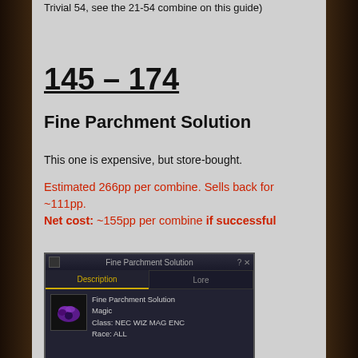Trivial 54, see the 21-54 combine on this guide)
145 – 174
Fine Parchment Solution
This one is expensive, but store-bought.
Estimated 266pp per combine. Sells back for ~111pp.
Net cost: ~155pp per combine if successful
[Figure (screenshot): In-game item tooltip screenshot showing 'Fine Parchment Solution' window with Description and Lore tabs. Item info: Fine Parchment Solution, Magic, Class: NEC WIZ MAG ENC, Race: ALL]